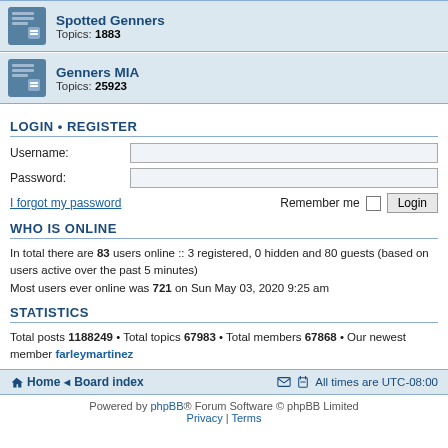Spotted Genners — Topics: 1883
Genners MIA — Topics: 25923
LOGIN • REGISTER
Username:
Password:
I forgot my password
Remember me   Login
WHO IS ONLINE
In total there are 83 users online :: 3 registered, 0 hidden and 80 guests (based on users active over the past 5 minutes)
Most users ever online was 721 on Sun May 03, 2020 9:25 am
STATISTICS
Total posts 1188249 • Total topics 67983 • Total members 67868 • Our newest member farleymartinez
Home • Board index   All times are UTC-08:00
Powered by phpBB® Forum Software © phpBB Limited
Privacy | Terms